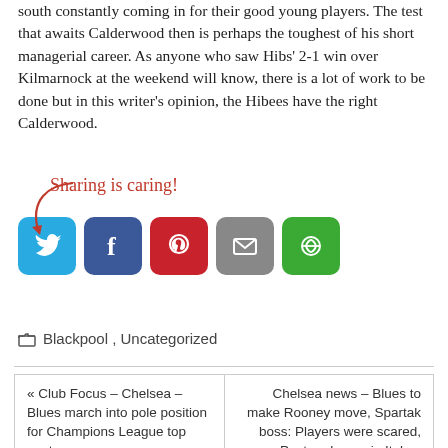south constantly coming in for their good young players. The test that awaits Calderwood then is perhaps the toughest of his short managerial career. As anyone who saw Hibs' 2-1 win over Kilmarnock at the weekend will know, there is a lot of work to be done but in this writer's opinion, the Hibees have the right Calderwood.
[Figure (infographic): Sharing is caring! social media sharing buttons for Twitter, Facebook, Pinterest, Email, and More.]
Blackpool, Uncategorized
« Club Focus – Chelsea – Blues march into pole position for Champions League top spot
Chelsea news – Blues to make Rooney move, Spartak boss: Players were scared, Pastore happy in Italy »